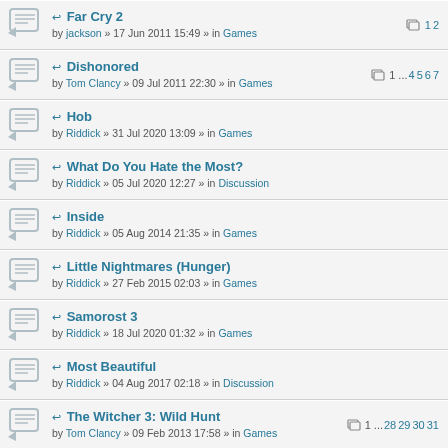Far Cry 2 by jackson » 17 Jun 2011 15:49 » in Games | pages: 1 2
Dishonored by Tom Clancy » 09 Jul 2011 22:30 » in Games | pages: 1 ... 4 5 6 7
Hob by Riddick » 31 Jul 2020 13:09 » in Games
What Do You Hate the Most? by Riddick » 05 Jul 2020 12:27 » in Discussion
Inside by Riddick » 05 Aug 2014 21:35 » in Games
Little Nightmares (Hunger) by Riddick » 27 Feb 2015 02:03 » in Games
Samorost 3 by Riddick » 18 Jul 2020 01:32 » in Games
Most Beautiful by Riddick » 04 Aug 2017 02:18 » in Discussion
The Witcher 3: Wild Hunt by Tom Clancy » 09 Feb 2013 17:58 » in Games | pages: 1 ... 28 29 30 31
Doom (2016) by Ripster » 15 Mar 2017 17:47 » in Games
SNOWRUNNER by Riddick » 17 Jun 2020 18:46 » in Games
The Longest Journey - Dreamfall Chapters by bellyalker » 28 Aug 2020 00:18 » in Games